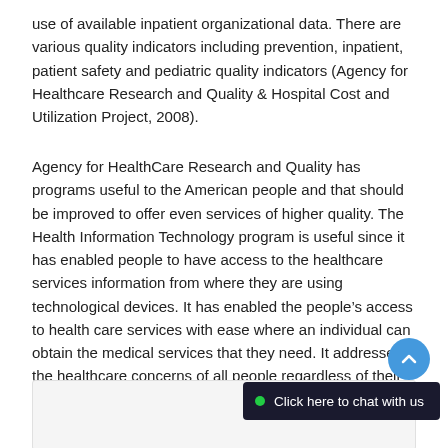use of available inpatient organizational data. There are various quality indicators including prevention, inpatient, patient safety and pediatric quality indicators (Agency for Healthcare Research and Quality & Hospital Cost and Utilization Project, 2008).
Agency for HealthCare Research and Quality has programs useful to the American people and that should be improved to offer even services of higher quality. The Health Information Technology program is useful since it has enabled people to have access to the healthcare services information from where they are using technological devices. It has enabled the people's access to health care services with ease where an individual can obtain the medical services that they need. It addresses the healthcare concerns of all people regardless of their geographical, social, cultural and economic factors (Agency for Healthcare Research and Quality & Hospital Cost and Utilization Project, 2008).